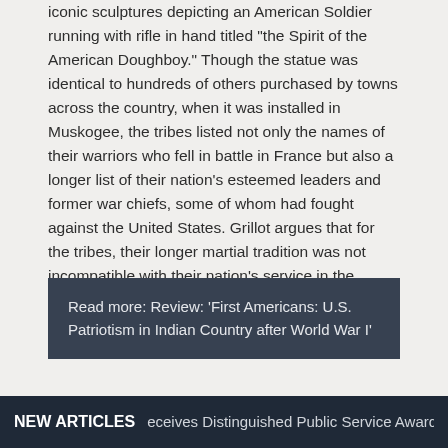iconic sculptures depicting an American Soldier running with rifle in hand titled "the Spirit of the American Doughboy." Though the statue was identical to hundreds of others purchased by towns across the country, when it was installed in Muskogee, the tribes listed not only the names of their warriors who fell in battle in France but also a longer list of their nation's esteemed leaders and former war chiefs, some of whom had fought against the United States. Grillot argues that for the tribes, their longer martial tradition was not incompatible with their nation's service in the United States' military during World War I.
Read more: Review: 'First Americans: U.S. Patriotism in Indian Country after World War I'
NEW ARTICLES   eceives Distinguished Public Service Award